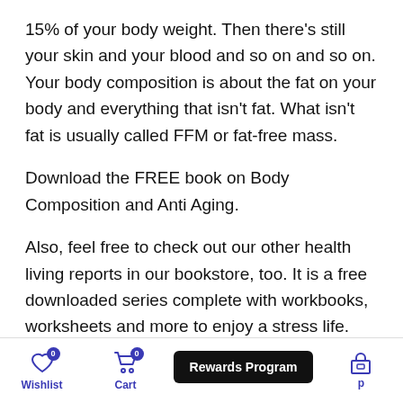15% of your body weight. Then there’s still your skin and your blood and so on and so on. Your body composition is about the fat on your body and everything that isn’t fat. What isn’t fat is usually called FFM or fat-free mass.
Download the FREE book on Body Composition and Anti Aging.
Also, feel free to check out our other health living reports in our bookstore, too. It is a free downloaded series complete with workbooks, worksheets and more to enjoy a stress life.
Wishlist  Cart  Rewards Program  Shop